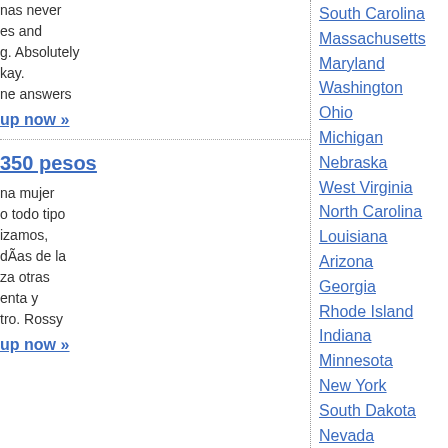has never es and g. Absolutely kay. ne answers
up now »
350 pesos
na mujer o todo tipo izamos, dÃas de la za otras enta y tro. Rossy
up now »
South Carolina
Massachusetts
Maryland
Washington
Ohio
Michigan
Nebraska
West Virginia
North Carolina
Louisiana
Arizona
Georgia
Rhode Island
Indiana
Minnesota
New York
South Dakota
Nevada
New Jersey
Virginia
Alaska
Idaho